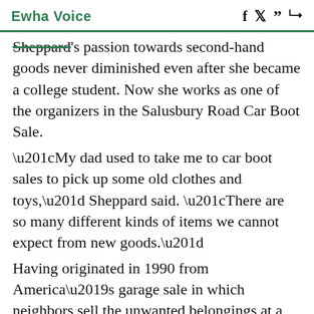Ewha Voice
Sheppard's passion towards second-hand goods never diminished even after she became a college student. Now she works as one of the organizers in the Salusbury Road Car Boot Sale. “My dad used to take me to car boot sales to pick up some old clothes and toys,” Sheppard said. “There are so many different kinds of items we cannot expect from new goods.” Having originated in 1990 from America’s garage sale in which neighbors sell the unwanted belongings at a low price, it is one of the most important traditions in the